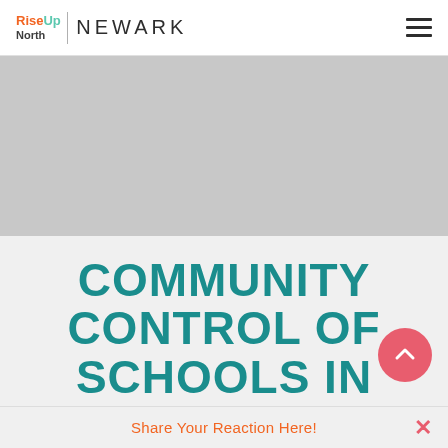[Figure (logo): RiseUp North Newark logo with hamburger menu on the right]
[Figure (photo): Gray placeholder image area (hero image)]
COMMUNITY CONTROL OF SCHOOLS IN
Share Your Reaction Here!